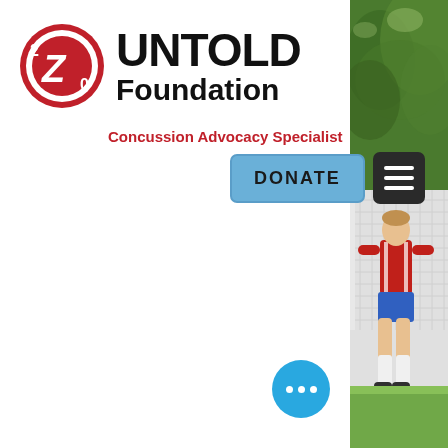[Figure (logo): 2Z0 Untold Foundation logo with red circular emblem and text]
Concussion Advocacy Specialist
[Figure (other): DONATE button (blue) and hamburger menu button (dark)]
[Figure (photo): Soccer player in red jersey near goal net, with green trees in background — partial photo on right edge of page]
[Figure (other): Blue chat/messenger bubble button with three dots, bottom right]